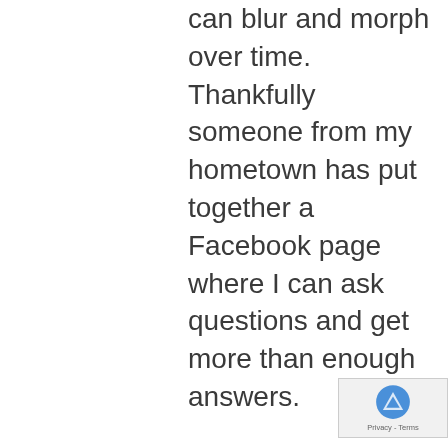can blur and morph over time. Thankfully someone from my hometown has put together a Facebook page where I can ask questions and get more than enough answers.
Many locales I remember no longer exist, so writing about them helps them live on.
I hope you will check out Sunny and 1970 Kokomo and come back for the